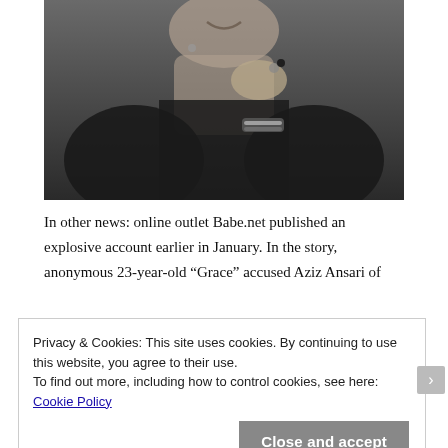[Figure (photo): Black and white photograph of a woman in a dark top, smiling, resting her cheek on her hand, wearing jewelry including a bracelet and ring.]
In other news: online outlet Babe.net published an explosive account earlier in January. In the story, anonymous 23-year-old “Grace” accused Aziz Ansari of
Privacy & Cookies: This site uses cookies. By continuing to use this website, you agree to their use.
To find out more, including how to control cookies, see here: Cookie Policy